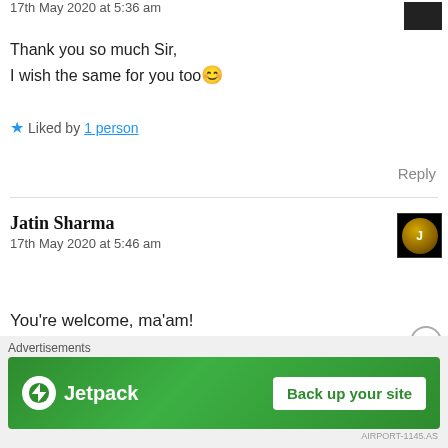17th May 2020 at 5:36 am
Thank you so much Sir,
I wish the same for you too 😊
★ Liked by 1 person
Reply
Jatin Sharma
17th May 2020 at 5:46 am
You're welcome, ma'am!
Thank you for your appreciation!
[Figure (screenshot): Advertisement banner: Jetpack logo with text 'Back up your site' button on green background]